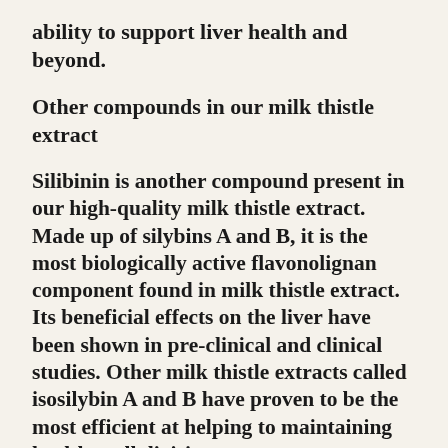ability to support liver health and beyond.
Other compounds in our milk thistle extract
Silibinin is another compound present in our high-quality milk thistle extract. Made up of silybins A and B, it is the most biologically active flavonolignan component found in milk thistle extract. Its beneficial effects on the liver have been shown in pre-clinical and clinical studies. Other milk thistle extracts called isosilybin A and B have proven to be the most efficient at helping to maintaining healthy cell division.
Phosphatidylcholine and other